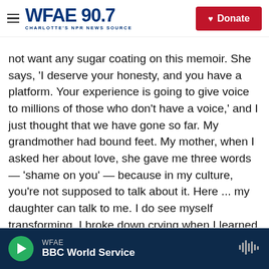WFAE 90.7 — CHARLOTTE'S NPR NEWS SOURCE | Donate
not want any sugar coating on this memoir. She says, 'I deserve your honesty, and you have a platform. Your experience is going to give voice to millions of those who don't have a voice,' and I just thought that we have gone so far. My grandmother had bound feet. My mother, when I asked her about love, she gave me three words — 'shame on you' — because in my culture, you're not supposed to talk about it. Here ... my daughter can talk to me. I do see myself transforming. I broke down crying when I learned she was a girl — I didn't realize, I was so corrupted by my culture and society, my core value was corrupted. And now she's turned out, she's
WFAE — BBC World Service